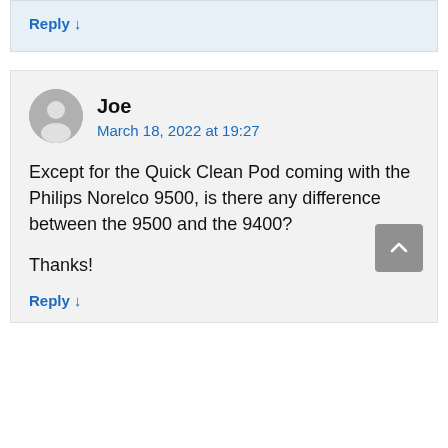Reply ↓
Joe
March 18, 2022 at 19:27
Except for the Quick Clean Pod coming with the Philips Norelco 9500, is there any difference between the 9500 and the 9400?
Thanks!
Reply ↓